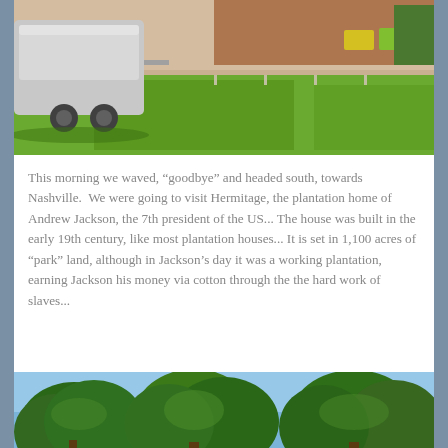[Figure (photo): Outdoor photo showing an Airstream trailer on a large green lawn with a brick building and lawn chairs in the background.]
This morning we waved, “goodbye” and headed south, towards Nashville.  We were going to visit Hermitage, the plantation home of Andrew Jackson, the 7th president of the US... The house was built in the early 19th century, like most plantation houses... It is set in 1,100 acres of “park” land, although in Jackson’s day it was a working plantation, earning Jackson his money via cotton through the the hard work of slaves...
[Figure (photo): Photo showing large green trees against a blue sky, likely at the Hermitage plantation grounds.]